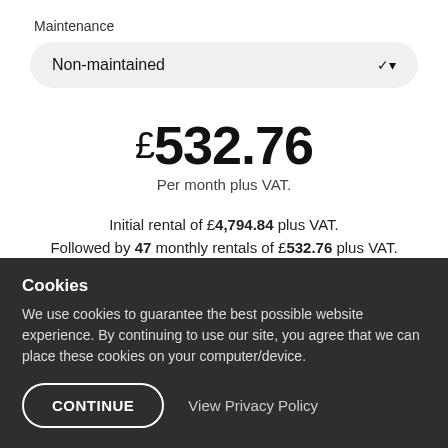Maintenance
Non-maintained
£532.76
Per month plus VAT.
Initial rental of £4,794.84 plus VAT. Followed by 47 monthly rentals of £532.76 plus VAT. Excess Mileage and Damage Charges may apply.
Cookies
We use cookies to guarantee the best possible website experience. By continuing to use our site, you agree that we can place these cookies on your computer/device.
CONTINUE
View Privacy Policy